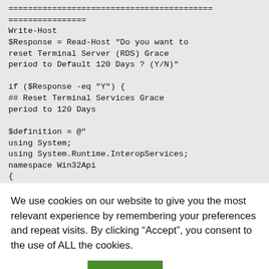[Figure (screenshot): Code block showing PowerShell script with dashed/equals lines, Write-Host, Read-Host prompt for Terminal Server RDS Grace period reset, if condition, and $definition variable assignment with C# namespace/class declarations]
We use cookies on our website to give you the most relevant experience by remembering your preferences and repeat visits. By clicking “Accept”, you consent to the use of ALL the cookies.
Cookie settings   ACCEPT